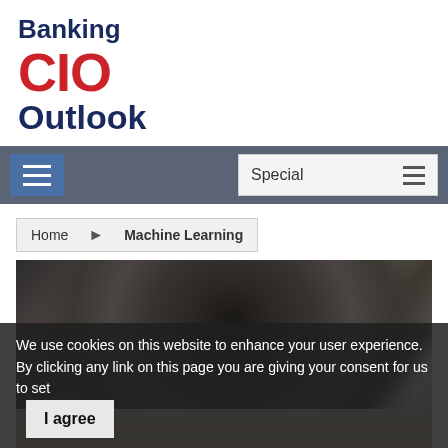[Figure (logo): Banking CIO Outlook logo with 'Banking' and 'Outlook' in dark navy bold text and 'CIO' in large red bold text]
[Figure (screenshot): Navigation bar with hamburger menu button on left and Special dropdown on right, dark gray background]
Home  Machine Learning
[Figure (photo): Photo of a person showing the top of head with dark hair, face partially visible, light background]
We use cookies on this website to enhance your user experience. By clicking any link on this page you are giving your consent for us to set